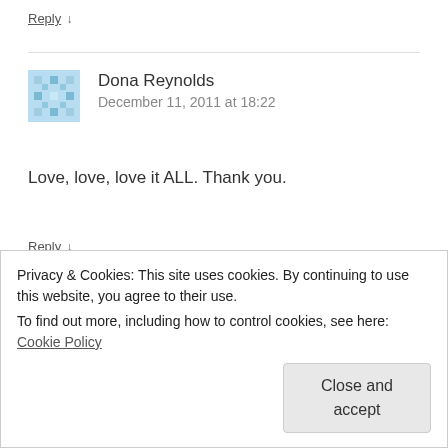Reply ↓
Dona Reynolds
December 11, 2011 at 18:22
Love, love, love it ALL. Thank you.
Reply ↓
Privacy & Cookies: This site uses cookies. By continuing to use this website, you agree to their use.
To find out more, including how to control cookies, see here: Cookie Policy
Close and accept